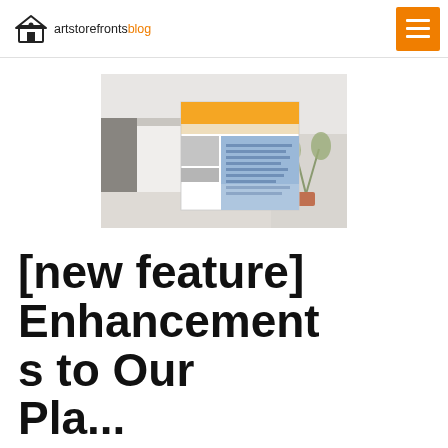artstorefronts blog
[Figure (screenshot): Screenshot of a blog/website page layout thumbnail showing an orange header bar, gray content blocks, and a blue text panel, overlaid on a photo of a person at a desk]
[new feature] Enhancements to Our Pla...